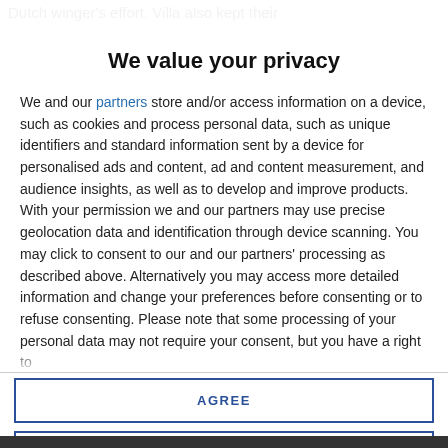Dutch winger's effort. Villa also kept their
We value your privacy
We and our partners store and/or access information on a device, such as cookies and process personal data, such as unique identifiers and standard information sent by a device for personalised ads and content, ad and content measurement, and audience insights, as well as to develop and improve products. With your permission we and our partners may use precise geolocation data and identification through device scanning. You may click to consent to our and our partners' processing as described above. Alternatively you may access more detailed information and change your preferences before consenting or to refuse consenting. Please note that some processing of your personal data may not require your consent, but you have a right to
AGREE
MORE OPTIONS